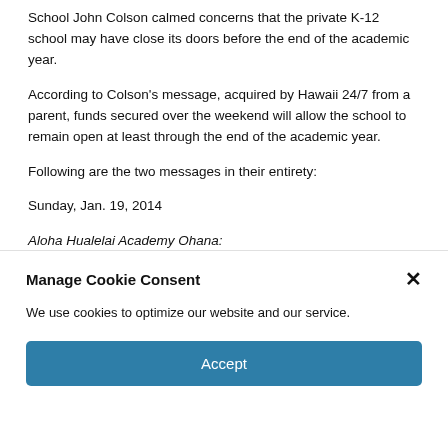School John Colson calmed concerns that the private K-12 school may have close its doors before the end of the academic year.
According to Colson's message, acquired by Hawaii 24/7 from a parent, funds secured over the weekend will allow the school to remain open at least through the end of the academic year.
Following are the two messages in their entirety:
Sunday, Jan. 19, 2014
Aloha Hualelai Academy Ohana:
Manage Cookie Consent
We use cookies to optimize our website and our service.
Accept